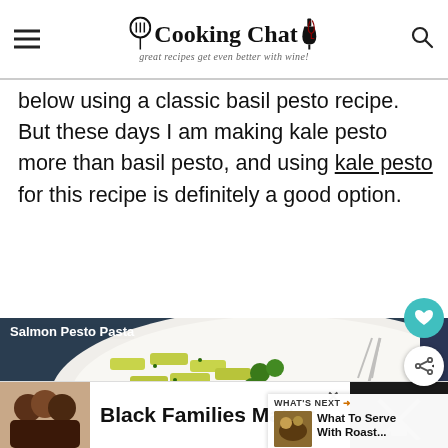Cooking Chat — great recipes get even better with wine!
below using a classic basil pesto recipe. But these days I am making kale pesto more than basil pesto, and using kale pesto for this recipe is definitely a good option.
[Figure (photo): Salmon Pesto Pasta dish photo showing penne pasta with green pesto sauce, broccoli, and salmon on a white plate]
Salmon Pesto Pasta
WHAT'S NEXT → What To Serve With Roast...
Black Families Matter